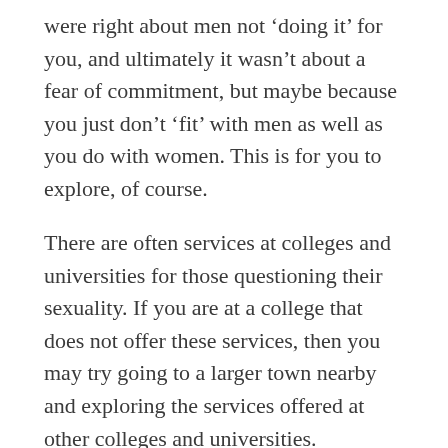were right about men not 'doing it' for you, and ultimately it wasn't about a fear of commitment, but maybe because you just don't 'fit' with men as well as you do with women. This is for you to explore, of course.
There are often services at colleges and universities for those questioning their sexuality. If you are at a college that does not offer these services, then you may try going to a larger town nearby and exploring the services offered at other colleges and universities. Sometimes there are also local hotlines you can call to talk about your concerns.
In any case, feel free to write us again if you think of other questions we might be able to